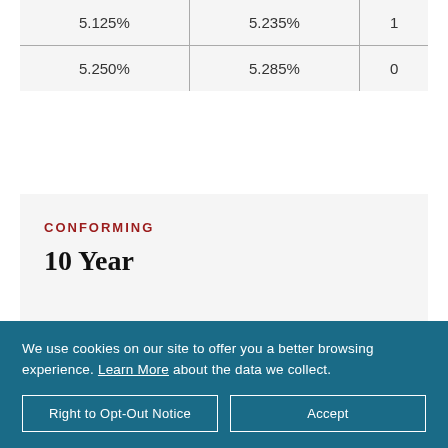| 5.125% | 5.235% | 1 |
| 5.250% | 5.285% | 0 |
CONFORMING
10 Year
We use cookies on our site to offer you a better browsing experience. Learn More about the data we collect.
Right to Opt-Out Notice
Accept